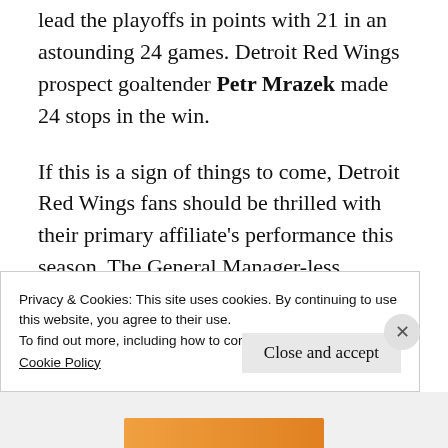lead the playoffs in points with 21 in an astounding 24 games. Detroit Red Wings prospect goaltender Petr Mrazek made 24 stops in the win.
If this is a sign of things to come, Detroit Red Wings fans should be thrilled with their primary affiliate's performance this season. The General Manager-less Griffins rely extensively on the Red Wings for support.  That
Privacy & Cookies: This site uses cookies. By continuing to use this website, you agree to their use.
To find out more, including how to control cookies, see here:
Cookie Policy
Close and accept